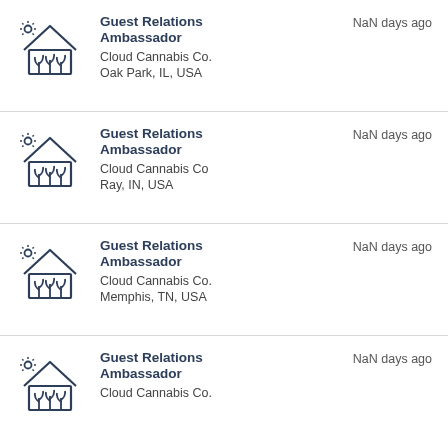Guest Relations Ambassador
Cloud Cannabis Co.
Oak Park, IL, USA
NaN days ago
Guest Relations Ambassador
Cloud Cannabis Co
Ray, IN, USA
NaN days ago
Guest Relations Ambassador
Cloud Cannabis Co.
Memphis, TN, USA
NaN days ago
Guest Relations Ambassador
Cloud Cannabis Co.
NaN days ago